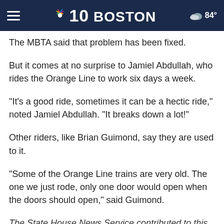NBC 10 BOSTON | 84°
The MBTA said that problem has been fixed.
But it comes at no surprise to Jamiel Abdullah, who rides the Orange Line to work six days a week.
"It's a good ride, sometimes it can be a hectic ride," noted Jamiel Abdullah. "It breaks down a lot!"
Other riders, like Brian Guimond, say they are used to it.
"Some of the Orange Line trains are very old. The one we just rode, only one door would open when the doors should open," said Guimond.
The State House News Service contributed to this report